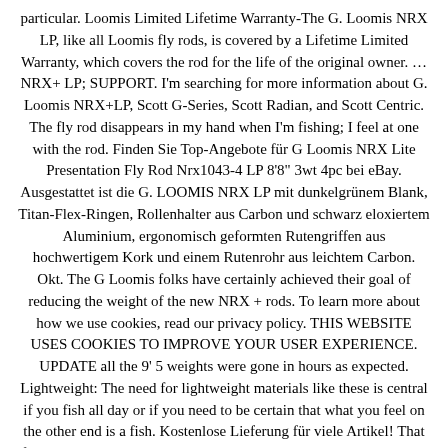particular. Loomis Limited Lifetime Warranty-The G. Loomis NRX LP, like all Loomis fly rods, is covered by a Lifetime Limited Warranty, which covers the rod for the life of the original owner. … NRX+ LP; SUPPORT. I'm searching for more information about G. Loomis NRX+LP, Scott G-Series, Scott Radian, and Scott Centric. The fly rod disappears in my hand when I'm fishing; I feel at one with the rod. Finden Sie Top-Angebote für G Loomis NRX Lite Presentation Fly Rod Nrx1043-4 LP 8'8" 3wt 4pc bei eBay. Ausgestattet ist die G. LOOMIS NRX LP mit dunkelgrünem Blank, Titan-Flex-Ringen, Rollenhalter aus Carbon und schwarz eloxiertem Aluminium, ergonomisch geformten Rutengriffen aus hochwertigem Kork und einem Rutenrohr aus leichtem Carbon. Okt. The G Loomis folks have certainly achieved their goal of reducing the weight of the new NRX + rods. To learn more about how we use cookies, read our privacy policy. THIS WEBSITE USES COOKIES TO IMPROVE YOUR USER EXPERIENCE. UPDATE all the 9' 5 weights were gone in hours as expected. Lightweight: The need for lightweight materials like these is central if you fish all day or if you need to be certain that what you feel on the other end is a fish. Kostenlose Lieferung für viele Artikel! That first year, G. Loomis sold more NRX rods than any prior rod debut. Kostenlose Lieferung für viele Artikel! It is sometimes referred to as the “underhand” style. G.Loomis NRX Trout Fliegenruten sind in 4 Modellen erhältlich: alle Ruten sind 9'0" (2,75 cm) lang. In ten minutes I can be catching Brown Trout.